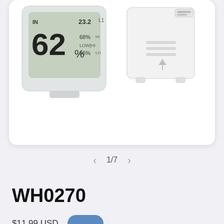[Figure (photo): Product photo showing two devices: an indoor LCD thermometer/hygrometer display showing 62% humidity and temperature readings, and a white wireless outdoor sensor unit]
1/7
WH0270
$11.99 USD